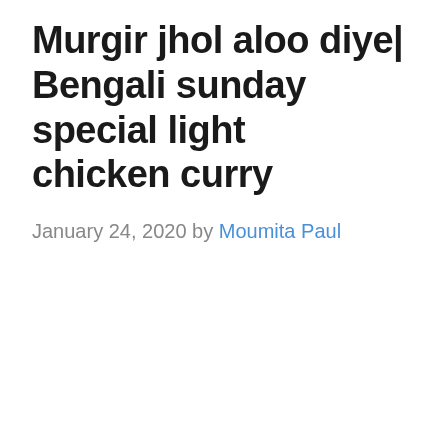Murgir jhol aloo diye| Bengali sunday special light chicken curry
January 24, 2020 by Moumita Paul